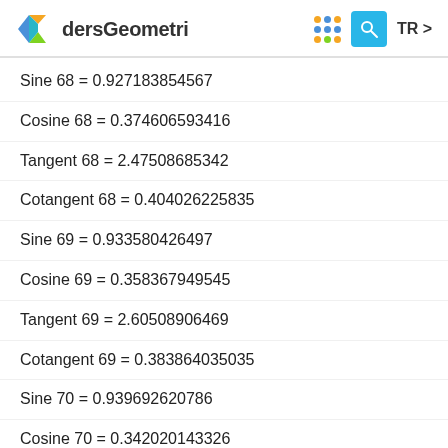dersGeometri TR
Sine 68 = 0.927183854567
Cosine 68 = 0.374606593416
Tangent 68 = 2.47508685342
Cotangent 68 = 0.404026225835
Sine 69 = 0.933580426497
Cosine 69 = 0.358367949545
Tangent 69 = 2.60508906469
Cotangent 69 = 0.383864035035
Sine 70 = 0.939692620786
Cosine 70 = 0.342020143326
Tangent 70 = 2.74747741945